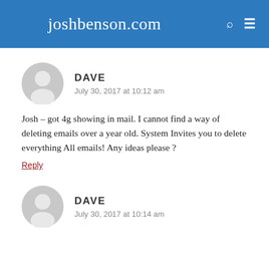joshbenson.com
DAVE
July 30, 2017 at 10:12 am
Josh – got 4g showing in mail. I cannot find a way of deleting emails over a year old. System Invites you to delete everything All emails! Any ideas please ?
Reply
DAVE
July 30, 2017 at 10:14 am